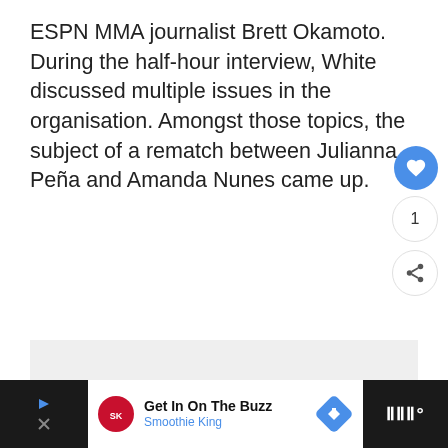ESPN MMA journalist Brett Okamoto. During the half-hour interview, White discussed multiple issues in the organisation. Amongst those topics, the subject of a rematch between Julianna Peña and Amanda Nunes came up.
[Figure (other): Advertisement placeholder block with light gray background and ADVERTISEMENT label]
[Figure (other): Bottom banner advertisement showing Smoothie King ad with Get In On The Buzz text, logo, navigation icon, and dark side panels]